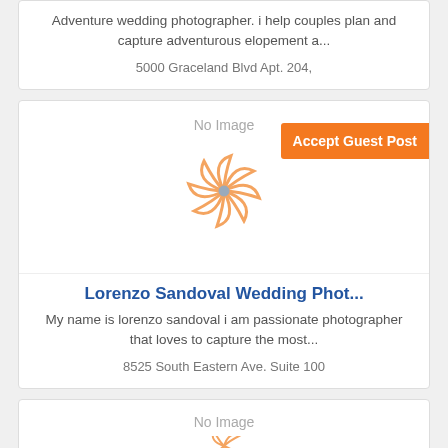Adventure wedding photographer. i help couples plan and capture adventurous elopement a...
5000 Graceland Blvd Apt. 204,
[Figure (illustration): No Image placeholder with orange pinwheel/windmill icon and an orange 'Accept Guest Post' button overlay]
Lorenzo Sandoval Wedding Phot...
My name is lorenzo sandoval i am passionate photographer that loves to capture the most...
8525 South Eastern Ave. Suite 100
[Figure (illustration): No Image placeholder with partial orange pinwheel icon visible at bottom]